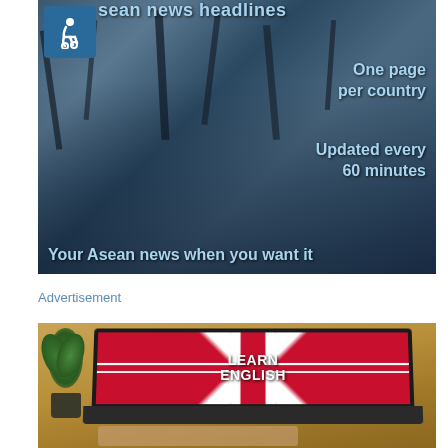[Figure (photo): ASEAN news headlines promotional image showing press photographers/cameramen with overlay text: 'sean news headlines', 'One page per country', 'Updated every 60 minutes', 'Your Asean news when you want it'. Wheelchair accessibility icon in top-left corner.]
Advertisement
[Figure (photo): Learn English advertisement image showing a laptop computer with a Union Jack (British flag) on screen displaying 'LEARN ENGLISH' text in bold white letters. A small potted plant is visible to the left. Wooden desk surface visible.]